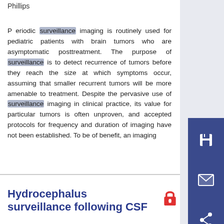Phillips
P eriodic surveillance imaging is routinely used for pediatric patients with brain tumors who are asymptomatic posttreatment. The purpose of surveillance is to detect recurrence of tumors before they reach the size at which symptoms occur, assuming that smaller recurrent tumors will be more amenable to treatment. Despite the pervasive use of surveillance imaging in clinical practice, its value for particular tumors is often unproven, and accepted protocols for frequency and duration of imaging have not been established. To be of benefit, an imaging
Hydrocephalus surveillance following CSF